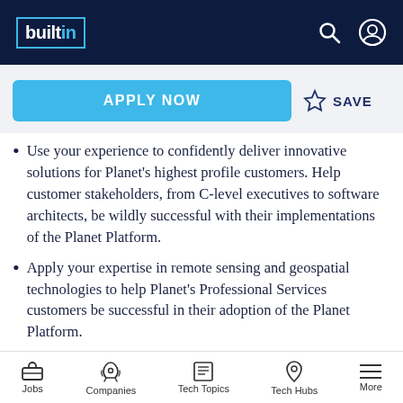builtin — navigation bar with search and profile icons
APPLY NOW | SAVE
Use your experience to confidently deliver innovative solutions for Planet's highest profile customers. Help customer stakeholders, from C-level executives to software architects, be wildly successful with their implementations of the Planet Platform.
Apply your expertise in remote sensing and geospatial technologies to help Planet's Professional Services customers be successful in their adoption of the Planet Platform.
Architect solutions for Planet's highest
Jobs | Companies | Tech Topics | Tech Hubs | More